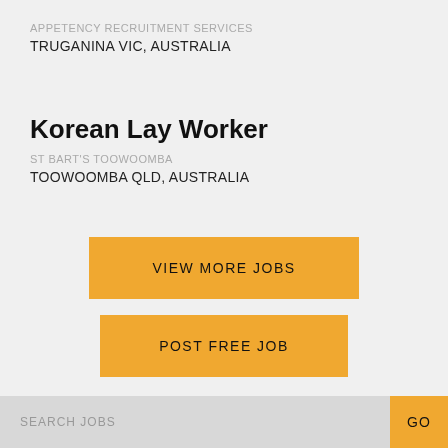APPETENCY RECRUITMENT SERVICES
TRUGANINA VIC, AUSTRALIA
Korean Lay Worker
ST BART'S TOOWOOMBA
TOOWOOMBA QLD, AUSTRALIA
VIEW MORE JOBS
POST FREE JOB
SEARCH JOBS
GO